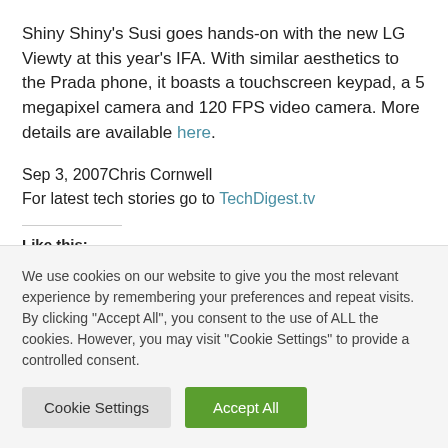Shiny Shiny's Susi goes hands-on with the new LG Viewty at this year's IFA. With similar aesthetics to the Prada phone, it boasts a touchscreen keypad, a 5 megapixel camera and 120 FPS video camera. More details are available here.
Sep 3, 2007Chris Cornwell
For latest tech stories go to TechDigest.tv
Like this:
We use cookies on our website to give you the most relevant experience by remembering your preferences and repeat visits. By clicking "Accept All", you consent to the use of ALL the cookies. However, you may visit "Cookie Settings" to provide a controlled consent.